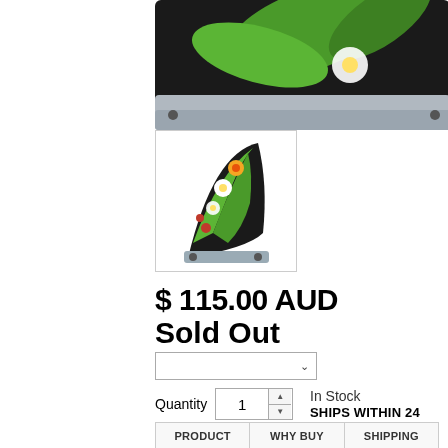[Figure (photo): Top portion of a surfboard fin with tropical floral design on dark background, partially visible at top of page]
[Figure (photo): Thumbnail image of a surfboard fin with tropical floral (Hawaiian flower) design — green, yellow, red, white flowers on black background]
$ 115.00 AUD
Sold Out
Quantity  1  In Stock SHIPS WITHIN 24 HOURS
SOLD OUT
PRODUCT  WHY BUY  SHIPPING